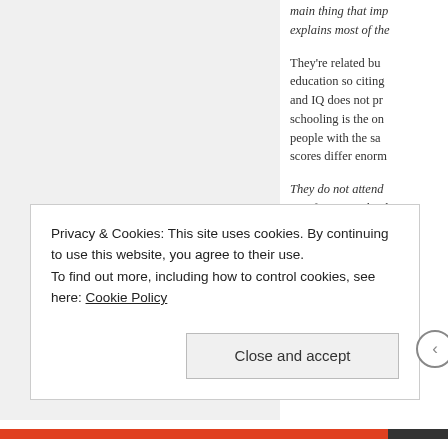main thing that imp... explains most of the...
They're related bu... education so citing... and IQ does not pr... schooling is the on... people with the sa... scores differ enorm...
They do not attend ... was from apartheid... for anything in apar...
Which shows the al... the only cause of n...
Privacy & Cookies: This site uses cookies. By continuing to use this website, you agree to their use.
To find out more, including how to control cookies, see here: Cookie Policy
Close and accept